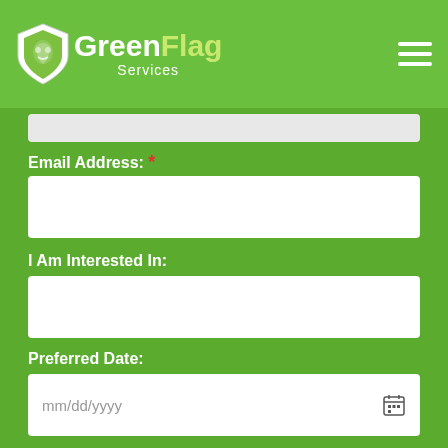[Figure (logo): Green Flag Services logo with shield icon, white and yellow-green text on green header bar]
Email Address: *
I Am Interested In:
Preferred Date:
Zip Code:
Comments: